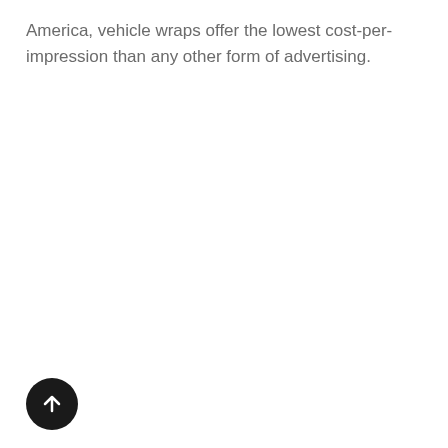America, vehicle wraps offer the lowest cost-per-impression than any other form of advertising.
[Figure (illustration): A circular black button with an upward-pointing white arrow icon, used as a scroll-to-top navigation element.]